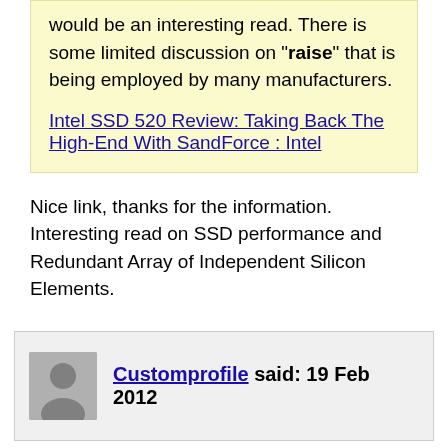would be an interesting read. There is some limited discussion on "raise" that is being employed by many manufacturers.
Intel SSD 520 Review: Taking Back The High-End With SandForce : Intel
Nice link, thanks for the information.
Interesting read on SSD performance and Redundant Array of Independent Silicon Elements.
Customprofile said: 19 Feb 2012
INTEL SSDSA2MH160G2R5 X25M 160GB SATA 3.0 SSD Hard Drive